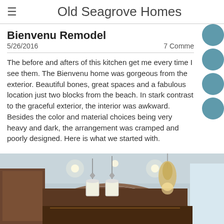Old Seagrove Homes
Bienvenu Remodel
5/26/2016
7 Comments
The before and afters of this kitchen get me every time I see them. The Bienvenu home was gorgeous from the exterior. Beautiful bones, great spaces and a fabulous location just two blocks from the beach. In stark contrast to the graceful exterior, the interior was awkward. Besides the color and material choices being very heavy and dark, the arrangement was cramped and poorly designed. Here is what we started with.
[Figure (photo): Interior kitchen photo showing a large arched ceiling with dark wood beam accent, recessed lighting, pendant lights over an island, and a chandelier. Dark wood cabinetry visible in the background.]